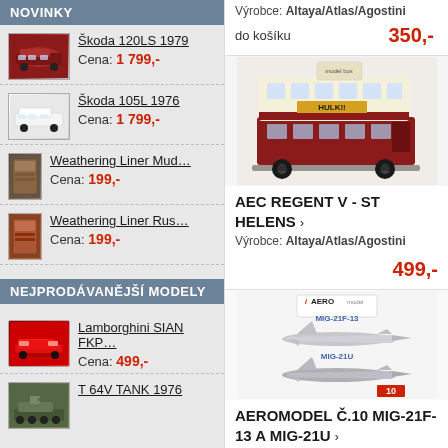NOVINKY
Škoda 120LS 1979 — Cena: 1 799,-
Škoda 105L 1976 — Cena: 1 799,-
Weathering Liner Mud… — Cena: 199,-
Weathering Liner Rus… — Cena: 199,-
NEJPRODÁVANĚJŠÍ MODELY
Lamborghini SIAN FKP… — Cena: 499,-
T 64V TANK 1976
Výrobce: Altaya/Atlas/Agostini
do košíku — 350,-
[Figure (photo): AEC Regent V double-decker bus model, red and cream, St Helens]
AEC REGENT V - ST HELENS ›
Výrobce: Altaya/Atlas/Agostini
499,-
[Figure (photo): Aeromodel box art showing MIG-21F-13 and MIG-21U aircraft models]
AEROMODEL Č.10 MIG-21F-13 A MIG-21U ›